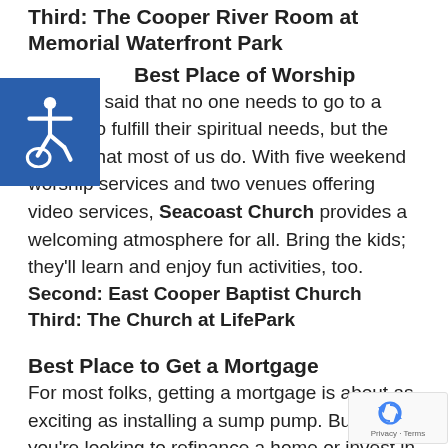Third: The Cooper River Room at Memorial Waterfront Park
Best Place of Worship
It's been said that no one needs to go to a church to fulfill their spiritual needs, but the truth is that most of us do. With five weekend worship services and two venues offering video services, Seacoast Church provides a welcoming atmosphere for all. Bring the kids; they'll learn and enjoy fun activities, too.
Second: East Cooper Baptist Church
Third: The Church at LifePark
Best Place to Get a Mortgage
For most folks, getting a mortgage is about as exciting as installing a sump pump. But if you're looking to refinance a home or invest in a multi-family proper second home, Mortgage Network has the tools, the